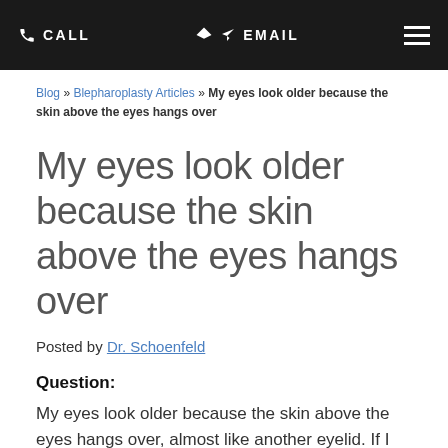CALL   EMAIL
Blog » Blepharoplasty Articles » My eyes look older because the skin above the eyes hangs over
My eyes look older because the skin above the eyes hangs over
Posted by Dr. Schoenfeld
Question:
My eyes look older because the skin above the eyes hangs over, almost like another eyelid. If I get upper lid blepharoplasty now, will my eyelid skin continue to droop